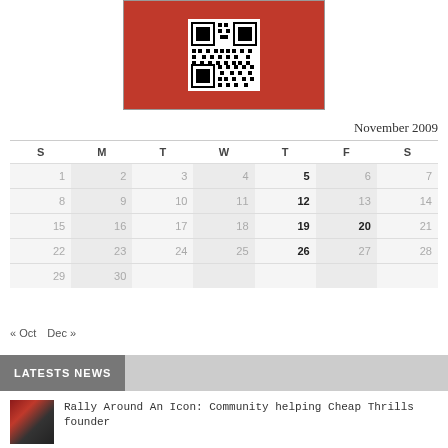[Figure (other): Red banner with QR code in center]
November 2009
| S | M | T | W | T | F | S |
| --- | --- | --- | --- | --- | --- | --- |
| 1 | 2 | 3 | 4 | 5 | 6 | 7 |
| 8 | 9 | 10 | 11 | 12 | 13 | 14 |
| 15 | 16 | 17 | 18 | 19 | 20 | 21 |
| 22 | 23 | 24 | 25 | 26 | 27 | 28 |
| 29 | 30 |  |  |  |  |  |
« Oct   Dec »
LATESTS NEWS
Rally Around An Icon: Community helping Cheap Thrills founder